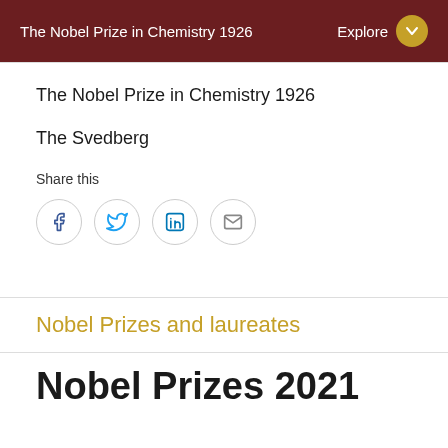The Nobel Prize in Chemistry 1926
The Nobel Prize in Chemistry 1926
The Svedberg
Share this
[Figure (infographic): Social share icons: Facebook, Twitter, LinkedIn, Email — each in a circle outline]
Nobel Prizes and laureates
Nobel Prizes 2021